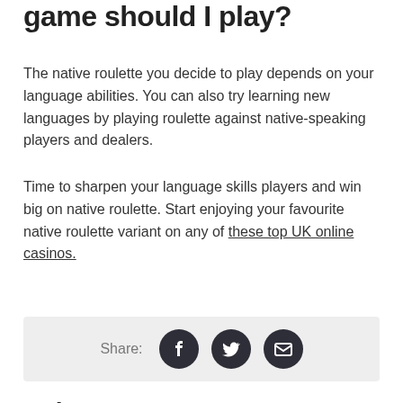game should I play?
The native roulette you decide to play depends on your language abilities. You can also try learning new languages by playing roulette against native-speaking players and dealers.
Time to sharpen your language skills players and win big on native roulette. Start enjoying your favourite native roulette variant on any of these top UK online casinos.
[Figure (other): Share bar with Facebook, Twitter, and Email social icons]
Relevant news